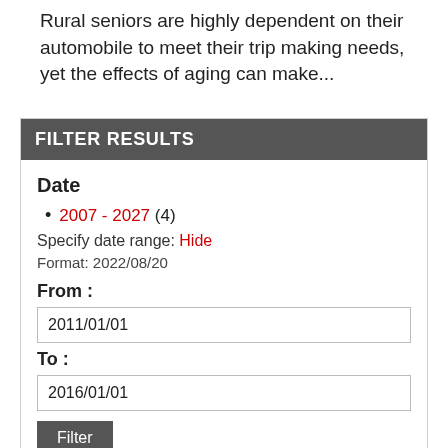Rural seniors are highly dependent on their automobile to meet their trip making needs, yet the effects of aging can make...
FILTER RESULTS
Date
2007 - 2027 (4)
Specify date range: Hide
Format: 2022/08/20
From :
2011/01/01
To :
2016/01/01
Filter